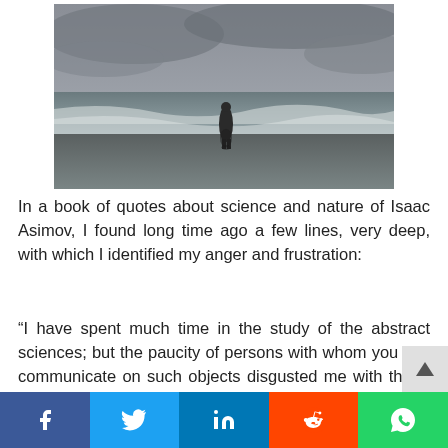[Figure (photo): A lone person standing on a beach with waves, viewed from behind, on an overcast day. The wet sand reflects the figure.]
In a book of quotes about science and nature of Isaac Asimov, I found long time ago a few lines, very deep, with which I identified my anger and frustration:
“I have spent much time in the study of the abstract sciences; but the paucity of persons with whom you can communicate on such objects disgusted me with them. When I began to study man, I saw these abstract sciences are not suited to hi, and
f    in    